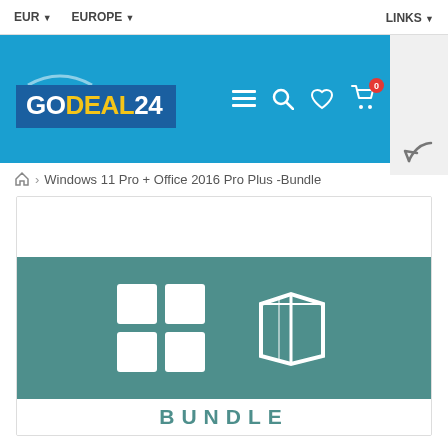EUR  EUROPE  LINKS
[Figure (logo): GoDeal24 logo on blue header background with navigation icons (hamburger menu, search, heart/wishlist, cart with 0 badge) and a back arrow button]
Windows 11 Pro + Office 2016 Pro Plus -Bundle
[Figure (screenshot): Product image showing Windows 11 logo and Office 2016 logo on teal background with BUNDLE text below]